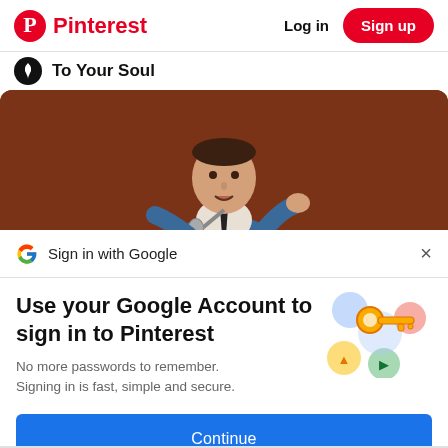Pinterest  Log in  Sign up
To Your Soul
[Figure (photo): Man in blue suit holding microphone on stage with brown/red background, speaking into mic]
Sign in with Google
Use your Google Account to sign in to Pinterest
No more passwords to remember.
Signing in is fast, simple and secure.
[Figure (illustration): Google account key illustration with colorful circular icons and a golden key]
Continue